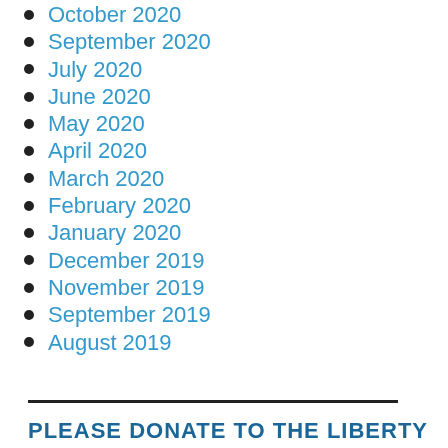October 2020
September 2020
July 2020
June 2020
May 2020
April 2020
March 2020
February 2020
January 2020
December 2019
November 2019
September 2019
August 2019
PLEASE DONATE TO THE LIBERTY FUND